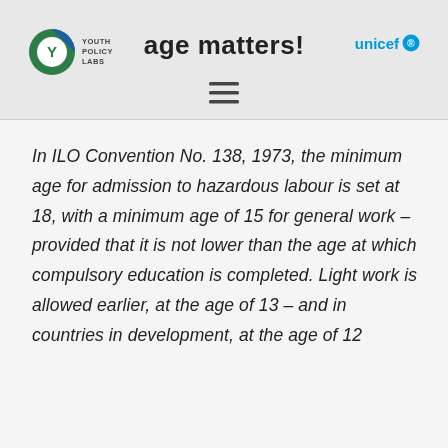age matters!
In ILO Convention No. 138, 1973, the minimum age for admission to hazardous labour is set at 18, with a minimum age of 15 for general work – provided that it is not lower than the age at which compulsory education is completed. Light work is allowed earlier, at the age of 13 – and in countries in development, at the age of 12